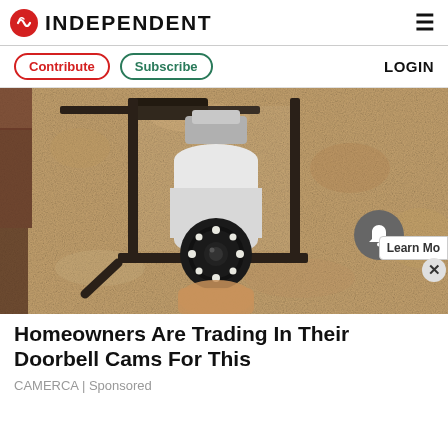INDEPENDENT
Contribute | Subscribe | LOGIN
[Figure (photo): A camera disguised as a light bulb installed in an outdoor lantern-style fixture mounted on a textured stucco wall.]
Homeowners Are Trading In Their Doorbell Cams For This
CAMERCA | Sponsored